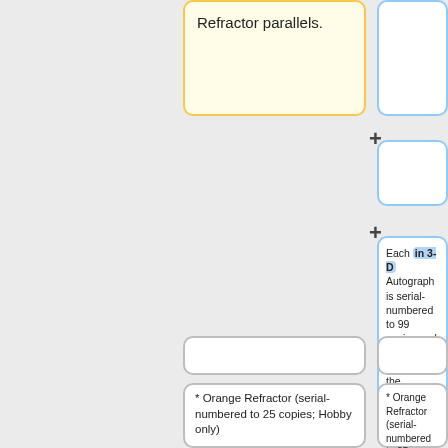Refractor parallels.
Each in 3-D Autograph is serial-numbered to 99 copies and also available in the following Refractor parallels.
* Orange Refractor (serial-numbered to 25 copies; Hobby only)
* Orange Refractor (serial-numbered to 25 copies; Hobby only)